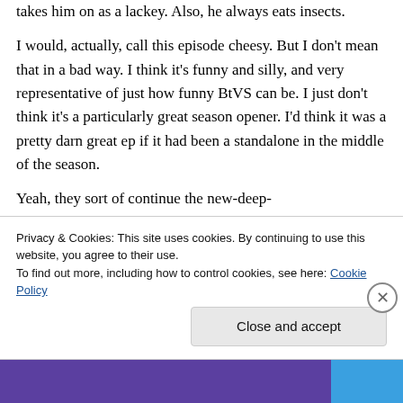takes him on as a lackey. Also, he always eats insects.
I would, actually, call this episode cheesy. But I don't mean that in a bad way. I think it's funny and silly, and very representative of just how funny BtVS can be. I just don't think it's a particularly great season opener. I'd think it was a pretty darn great ep if it had been a standalone in the middle of the season.
Yeah, they sort of continue the new-deep-
Privacy & Cookies: This site uses cookies. By continuing to use this website, you agree to their use.
To find out more, including how to control cookies, see here: Cookie Policy